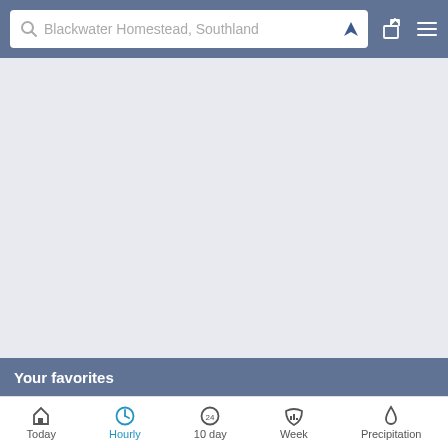Blackwater Homestead, Southland
[Figure (screenshot): Empty white/light grey content area below the search bar, representing a loading or blank map/weather view]
Your favorites
Would you like to add Blackwater Homestead to your favorites for quick access?
Today  Hourly  10 day  Week  Precipitation